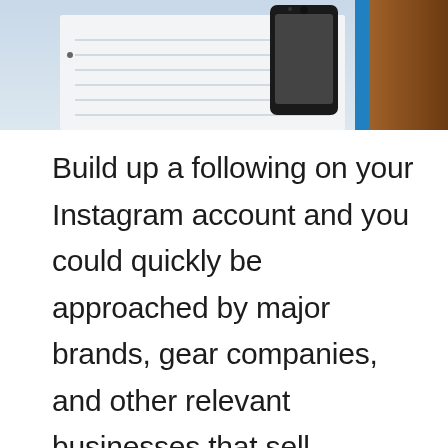[Figure (photo): Top portion of a photo showing a notebook with ruled lines, a smartphone, and a wooden surface with blue edge, viewed from above on a desk.]
Build up a following on your Instagram account and you could quickly be approached by major brands, gear companies, and other relevant businesses that sell products or services related to the type of content you share on Instagram—creating multiple potential side business ideas that'll